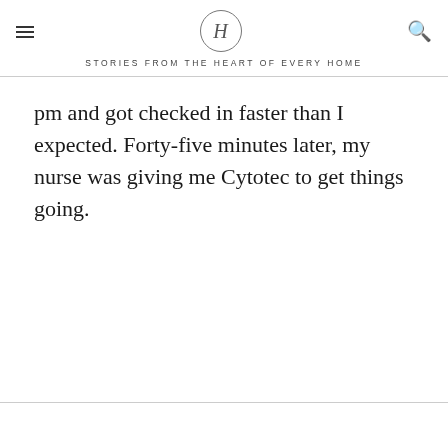H — STORIES FROM THE HEART OF EVERY HOME
pm and got checked in faster than I expected. Forty-five minutes later, my nurse was giving me Cytotec to get things going.